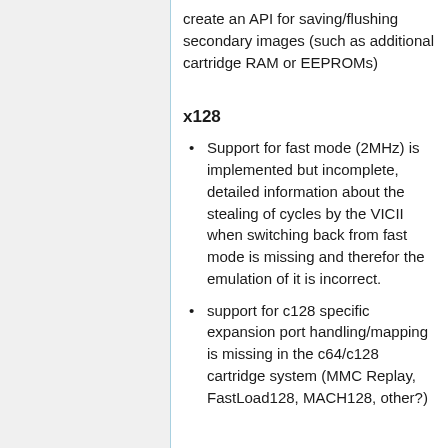create an API for saving/flushing secondary images (such as additional cartridge RAM or EEPROMs)
x128
Support for fast mode (2MHz) is implemented but incomplete, detailed information about the stealing of cycles by the VICII when switching back from fast mode is missing and therefor the emulation of it is incorrect.
support for c128 specific expansion port handling/mapping is missing in the c64/c128 cartridge system (MMC Replay, FastLoad128, MACH128, other?)